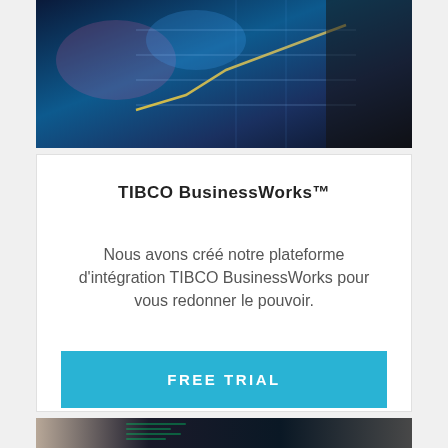[Figure (photo): Dark background photo of a person pointing at a financial chart on a screen, with blue tones and glowing chart lines]
TIBCO BusinessWorks™
Nous avons créé notre plateforme d'intégration TIBCO BusinessWorks pour vous redonner le pouvoir.
FREE TRIAL
[Figure (photo): Bottom partial photo showing people and screens with code]